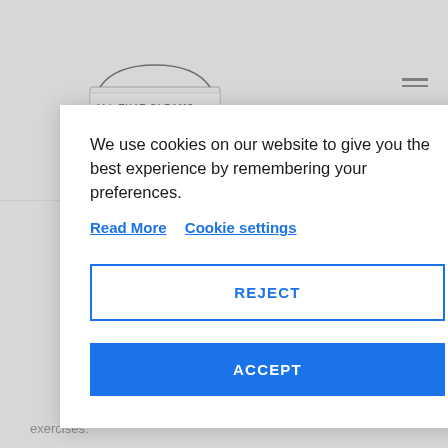[Figure (screenshot): Background website page with 'ALL THAT GLEAMS' car logo at top left, hamburger menu icon at top right, and partial text lines visible on left side and bottom]
We use cookies on our website to give you the best experience by remembering your preferences.
Read More   Cookie settings
REJECT
ACCEPT
exercises: